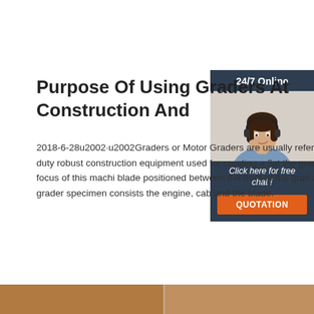Purpose Of Using Graders At Construction And
2018-6-28u2002·u2002Graders or Motor Graders are usually referred to as are heavy duty robust construction equipment used for creating a flat the grading process. At the focus of this machi blade positioned between the front of the grad axle. A typical motor grader specimen consists the engine, cab and the blade.
[Figure (photo): Customer support representative woman wearing headset, smiling, with 24/7 Online header and Click here for free chat / QUOTATION button overlay widget]
Get Price
[Figure (photo): Bottom bar showing partial view of construction/grading equipment images]